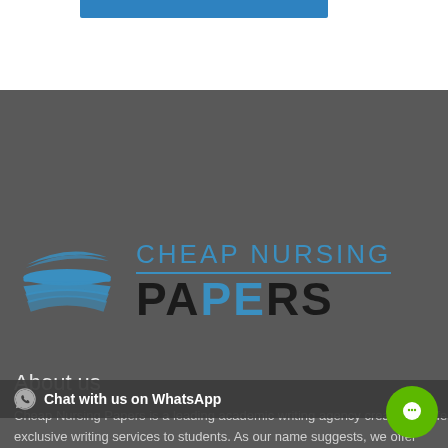[Figure (logo): Blue bar at top of page, partial logo bar]
[Figure (logo): Cheap Nursing Papers logo with stacked book pages icon in blue and text reading CHEAP NURSING PAPERS on dark grey background]
About us
Cheap Nursing Papers is a leading academic writing agency created to offer exclusive writing services to students. As our name suggests, we offer cheap academic writing services to students from all corners of the world.
We offer a wide range of academic writing services from
Chat with us on WhatsApp